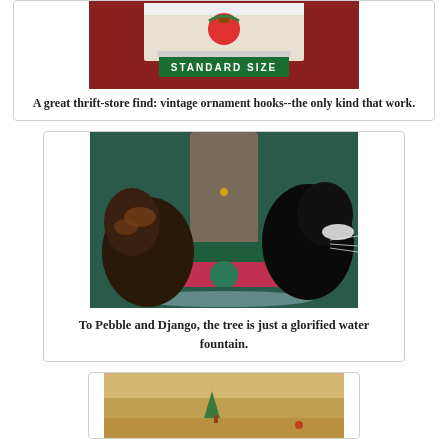[Figure (photo): Vintage Christmas ornament hooks box labeled STANDARD SIZE on green band, against red background]
A great thrift-store find: vintage ornament hooks--the only kind that work.
[Figure (photo): Two cats (Pebble and Django) drinking from a Christmas tree water reservoir at the base of the tree]
To Pebble and Django, the tree is just a glorified water fountain.
[Figure (photo): Partial view of a Christmas tree on a wooden surface]